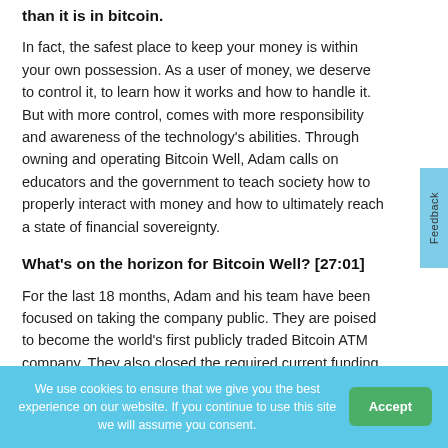than it is in bitcoin.
In fact, the safest place to keep your money is within your own possession. As a user of money, we deserve to control it, to learn how it works and how to handle it. But with more control, comes with more responsibility and awareness of the technology's abilities. Through owning and operating Bitcoin Well, Adam calls on educators and the government to teach society how to properly interact with money and how to ultimately reach a state of financial sovereignty.
What's on the horizon for Bitcoin Well? [27:01]
For the last 18 months, Adam and his team have been focused on taking the company public. They are poised to become the world's first publicly traded Bitcoin ATM company. They also closed the required current funding round earlier this month.
We use cookies to ensure that we give you the best experience on our website. If you continue to use this site we will assume you consent.